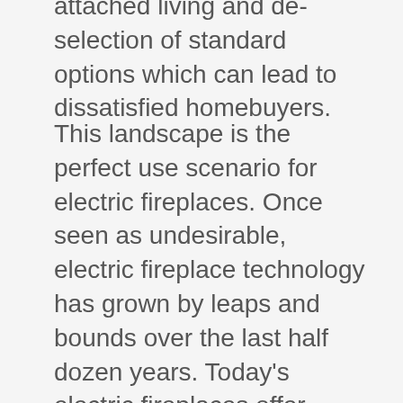attached living and de-selection of standard options which can lead to dissatisfied homebuyers.
This landscape is the perfect use scenario for electric fireplaces. Once seen as undesirable, electric fireplace technology has grown by leaps and bounds over the last half dozen years. Today's electric fireplaces offer clean aesthetics and diverse configurations and features.